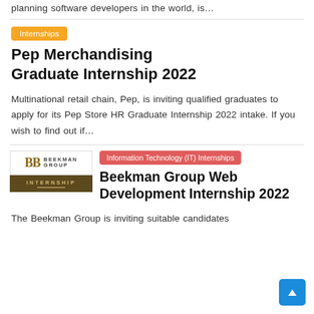planning software developers in the world, is…
Internships
Pep Merchandising Graduate Internship 2022
Multinational retail chain, Pep, is inviting qualified graduates to apply for its Pep Store HR Graduate Internship 2022 intake. If you wish to find out if…
[Figure (logo): Beekman Group logo with BB emblem and INTERNSHIP banner]
Information Technology (IT) Internships
Beekman Group Web Development Internship 2022
The Beekman Group is inviting suitable candidates